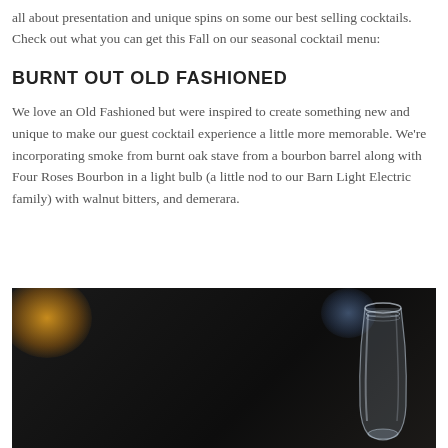all about presentation and unique spins on some our best selling cocktails. Check out what you can get this Fall on our seasonal cocktail menu:
BURNT OUT OLD FASHIONED
We love an Old Fashioned but were inspired to create something new and unique to make our guest cocktail experience a little more memorable. We're incorporating smoke from burnt oak stave from a bourbon barrel along with Four Roses Bourbon in a light bulb (a little nod to our Barn Light Electric family) with walnut bitters, and demerara.
[Figure (photo): Dark background photo of a glass light bulb vessel used for a cocktail, with orange/yellow bokeh in the upper left and blue bokeh in the upper right]